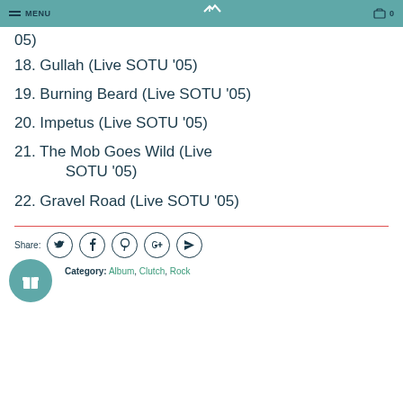MENU | 0
18. Gullah (Live SOTU '05)
19. Burning Beard (Live SOTU '05)
20. Impetus (Live SOTU '05)
21. The Mob Goes Wild (Live SOTU '05)
22. Gravel Road (Live SOTU '05)
Share: [Twitter] [Facebook] [Pinterest] [Google+] [Email]
Category: Album, Clutch, Rock